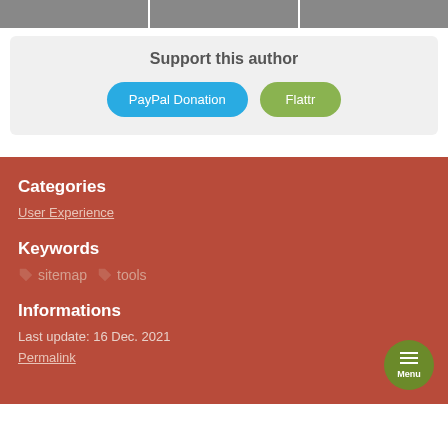[Figure (illustration): Three gray image thumbnails in a horizontal strip at the top]
Support this author
PayPal Donation  Flattr
Categories
User Experience
Keywords
sitemap  tools
Informations
Last update: 16 Dec. 2021
Permalink